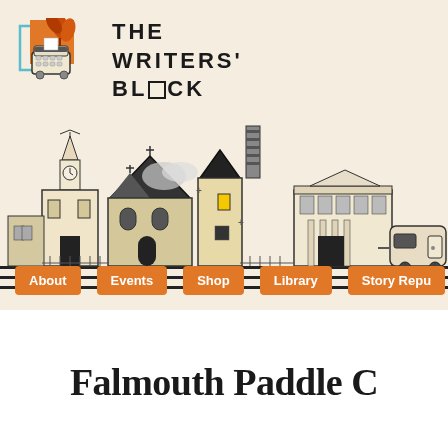[Figure (logo): The Writers' Block logo: orange square with plant/typewriter illustration, teal border square overlay]
THE WRITERS' BLOCK
[Figure (illustration): Illustrated town scene with clock tower church, Victorian house, tall narrow building with chimney, modern library building, and a vintage camper trailer on a road]
About
Events
Shop
Library
Story Repu
Falmouth Paddle C